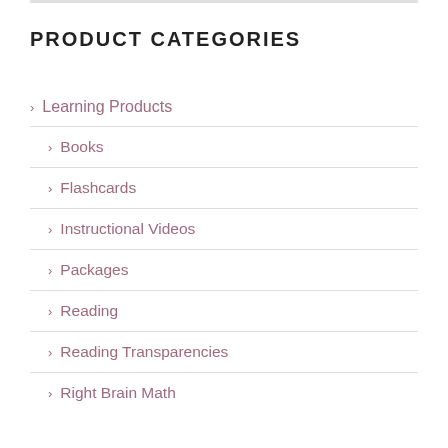PRODUCT CATEGORIES
Learning Products
Books
Flashcards
Instructional Videos
Packages
Reading
Reading Transparencies
Right Brain Math